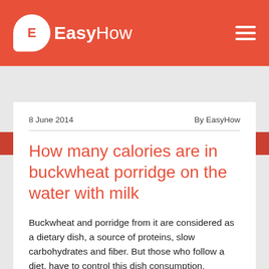EasyHow
Home / Food / Food
8 June 2014   By EasyHow
How many calories are in buckwheat porridge on the water with milk
Buckwheat and porridge from it are considered as a dietary dish, a source of proteins, slow carbohydrates and fiber. But those who follow a diet, have to control this dish consumption.